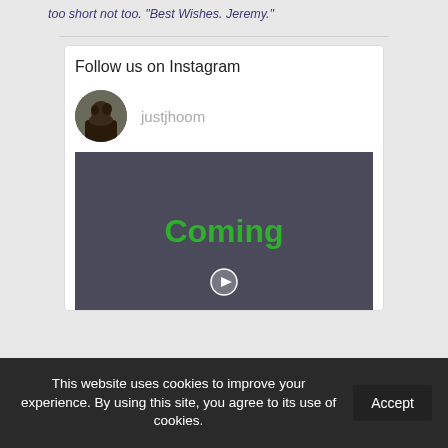too short not too. "Best Wishes. Jeremy."
Follow us on Instagram
[Figure (photo): Circular avatar photo of a person (justjhoom profile picture)]
justjhoom
[Figure (photo): Dark background image with green text 'Coming' and a play button icon]
This website uses cookies to improve your experience. By using this site, you agree to its use of cookies.